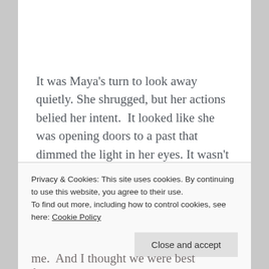It was Maya's turn to look away quietly. She shrugged, but her actions belied her intent. It looked like she was opening doors to a past that dimmed the light in her eyes. It wasn't a moment that she wanted to relive. He was so close to dying that evening.
Privacy & Cookies: This site uses cookies. By continuing to use this website, you agree to their use.
To find out more, including how to control cookies, see here: Cookie Policy
Close and accept
me. And I thought we were best friends. Raising